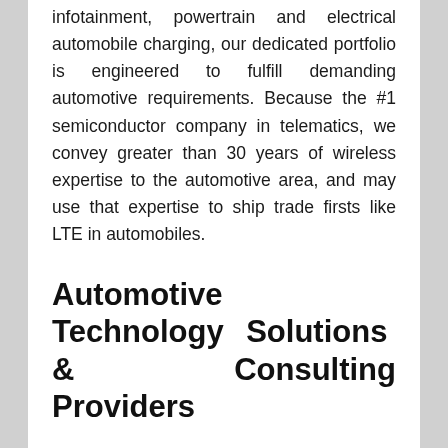infotainment, powertrain and electrical automobile charging, our dedicated portfolio is engineered to fulfill demanding automotive requirements. Because the #1 semiconductor company in telematics, we convey greater than 30 years of wireless expertise to the automotive area, and may use that expertise to ship trade firsts like LTE in automobiles.
Automotive Technology Solutions & Consulting Providers
Automotive demographics cope with the population attribute of cars. From premium